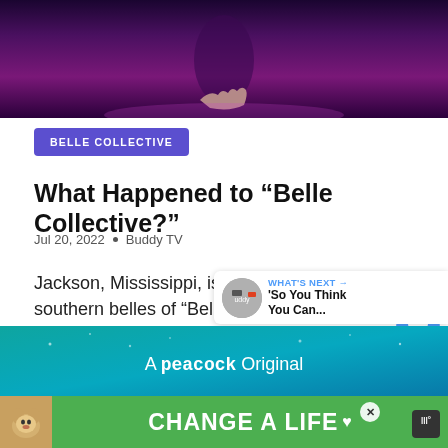[Figure (photo): Hero image with dark purple/magenta gradient background, appears to show a person with hand visible at bottom center]
BELLE COLLECTIVE
What Happened to “Belle Collective?”
Jul 20, 2022  •  Buddy TV
Jackson, Mississippi, is home to the five southern belles of “Belle …
[Figure (screenshot): WHAT'S NEXT arrow banner showing 'So You Think You Can...' with Buddy TV avatar]
[Figure (photo): A peacock Original promotional image with teal/blue gradient background]
[Figure (photo): Advertisement banner: CHANGE A LIFE with dog image on green background]